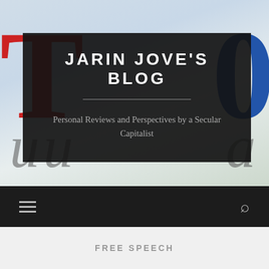[Figure (screenshot): Blog header screenshot with dark overlay box containing the blog title and subtitle, over a light background with partial red and blue letters visible]
JARIN JOVE'S BLOG
Personal Reviews and Perspectives by a Secular Capitalist
[Figure (infographic): Dark navigation bar with hamburger menu icon on left and search icon on right]
FREE SPEECH